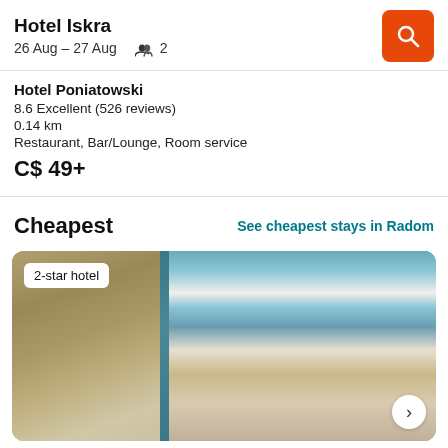Hotel Iskra
26 Aug – 27 Aug   2
Hotel Poniatowski
8.6 Excellent (526 reviews)
0.14 km
Restaurant, Bar/Lounge, Room service
C$ 49+
Cheapest
See cheapest stays in Radom
[Figure (photo): Hotel room interior showing a bed with teal/turquoise curtains, wooden furniture, decorative wallpaper, and a sitting area. Badge overlay reads '2-star hotel'.]